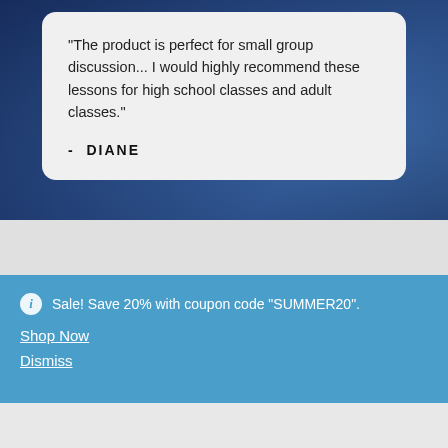"The product is perfect for small group discussion... I would highly recommend these lessons for high school classes and adult classes."

- DIANE
Sale! Save 20% with coupon code "SUMMER20".
Shop Now
Dismiss